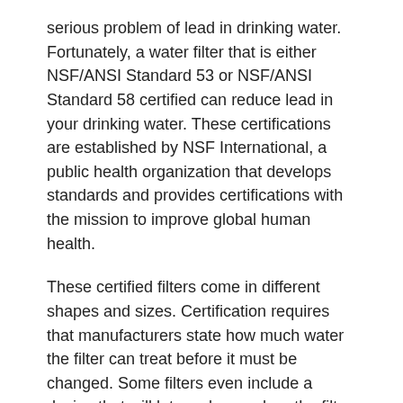serious problem of lead in drinking water. Fortunately, a water filter that is either NSF/ANSI Standard 53 or NSF/ANSI Standard 58 certified can reduce lead in your drinking water. These certifications are established by NSF International, a public health organization that develops standards and provides certifications with the mission to improve global human health.
These certified filters come in different shapes and sizes. Certification requires that manufacturers state how much water the filter can treat before it must be changed. Some filters even include a device that will let you know when the filter needs to be changed. When changing filter cartridges, it's important to use a certified cartridge. A non-certified cartridge may not effectively filter lead from the drinking water.
There are a variety of filter options that meet the NSF's